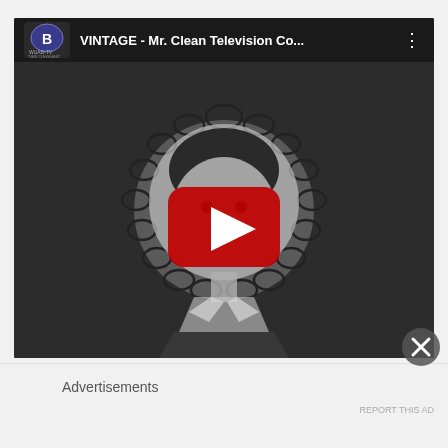[Figure (screenshot): YouTube video thumbnail showing a vintage black and white animated cartoon character (a girl with a large ruffled collar) with a red YouTube play button overlay. The video title reads 'VINTAGE - Mr. Clean Television Co...' with a WUAB-TV channel logo in the top left corner.]
Advertisements
REPORT THIS AD